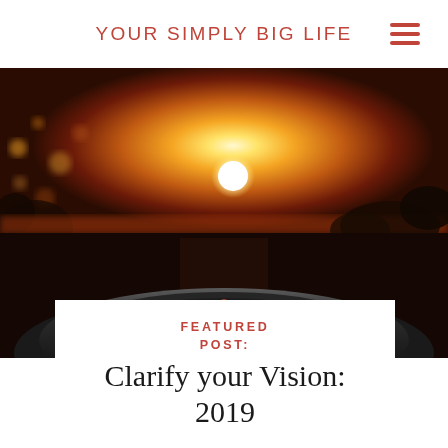YOUR SIMPLY BIG LIFE
[Figure (photo): Close-up of a camera lens with a blurred sunset background featuring golden and orange hues with a bright sun on the horizon and dark silhouetted trees]
FEATURED POST:
Clarify your Vision: 2019